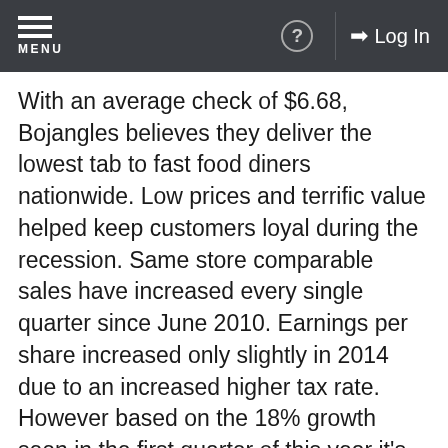MENU | ? | Log In
With an average check of $6.68, Bojangles believes they deliver the lowest tab to fast food diners nationwide. Low prices and terrific value helped keep customers loyal during the recession. Same store comparable sales have increased every single quarter since June 2010. Earnings per share increased only slightly in 2014 due to an increased higher tax rate. However based on the 18% growth seen in the first quarter of this year it's quite possible that earnings follow that trajectory for the entire year.
Bojangles has an $865 million market cap and and trades for 24 times 2014 earnings. Formal estimates for 2015 will not be released until the company's quiet period...